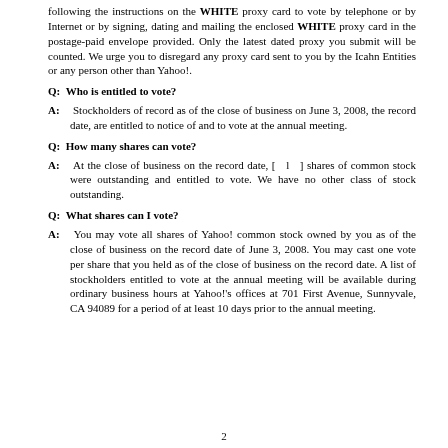following the instructions on the WHITE proxy card to vote by telephone or by Internet or by signing, dating and mailing the enclosed WHITE proxy card in the postage-paid envelope provided. Only the latest dated proxy you submit will be counted. We urge you to disregard any proxy card sent to you by the Icahn Entities or any person other than Yahoo!.
Q: Who is entitled to vote?
A: Stockholders of record as of the close of business on June 3, 2008, the record date, are entitled to notice of and to vote at the annual meeting.
Q: How many shares can vote?
A: At the close of business on the record date, [ l ] shares of common stock were outstanding and entitled to vote. We have no other class of stock outstanding.
Q: What shares can I vote?
A: You may vote all shares of Yahoo! common stock owned by you as of the close of business on the record date of June 3, 2008. You may cast one vote per share that you held as of the close of business on the record date. A list of stockholders entitled to vote at the annual meeting will be available during ordinary business hours at Yahoo!'s offices at 701 First Avenue, Sunnyvale, CA 94089 for a period of at least 10 days prior to the annual meeting.
2